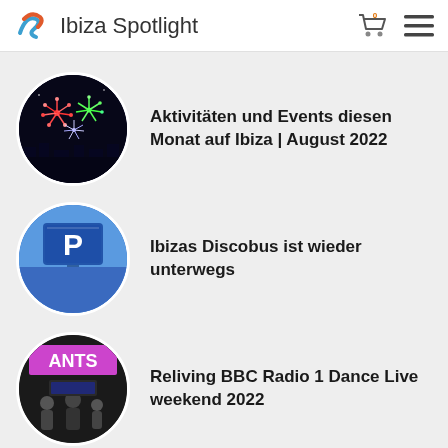Ibiza Spotlight
Aktivitäten und Events diesen Monat auf Ibiza | August 2022
Ibizas Discobus ist wieder unterwegs
Reliving BBC Radio 1 Dance Live weekend 2022